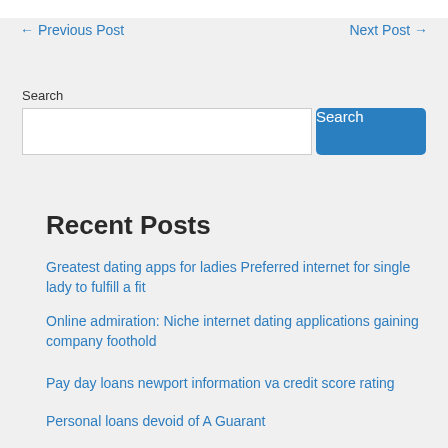← Previous Post
Next Post →
Search
Recent Posts
Greatest dating apps for ladies Preferred internet for single lady to fulfill a fit
Online admiration: Niche internet dating applications gaining company foothold
Pay day loans newport information va credit score rating
Personal loans devoid of A Guarant